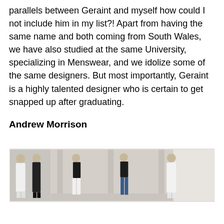parallels between Geraint and myself how could I not include him in my list?! Apart from having the same name and both coming from South Wales, we have also studied at the same University, specializing in Menswear, and we idolize some of the same designers. But most importantly, Geraint is a highly talented designer who is certain to get snapped up after graduating.
Andrew Morrison
[Figure (photo): Fashion runway or lookbook photo showing five male models wearing formal eveningwear designs — white robes and black suits — in an elegant interior space with columns.]
Andrew Morrison is a luxury men's eveningwear brand that just launched their first Kickstarter campaign after receiving a huge amount of order requests and positive feedback following the line's Spring 2016 collection debut at Men's NYFW on July 18th.Which is not surprising when you see how beautiful the collection is. The designer himself, Andrew Morrison, was born and raised in New York. He attended